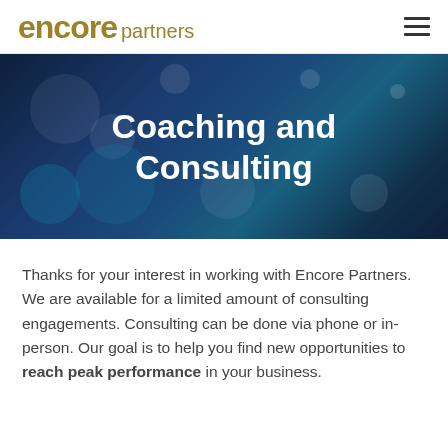encore partners
Coaching and Consulting
Thanks for your interest in working with Encore Partners. We are available for a limited amount of consulting engagements. Consulting can be done via phone or in-person. Our goal is to help you find new opportunities to reach peak performance in your business.